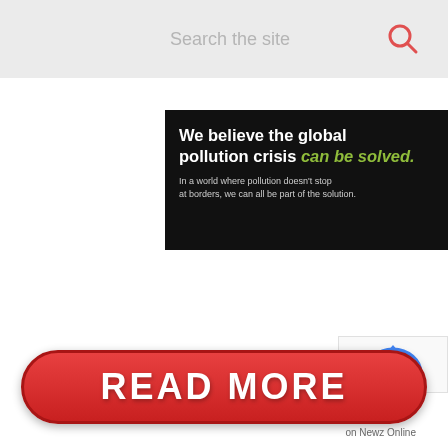Search the site
[Figure (infographic): Pure Earth advertisement banner: black left panel with bold white text 'We believe the global pollution crisis can be solved.' and smaller text 'In a world where pollution doesn't stop at borders, we can all be part of the solution.' Right white panel with orange 'JOIN US.' bar at top and Pure Earth logo with diamond icon.]
[Figure (infographic): Red pill-shaped READ MORE button with white bold text. 'on Newz Online' text below right side.]